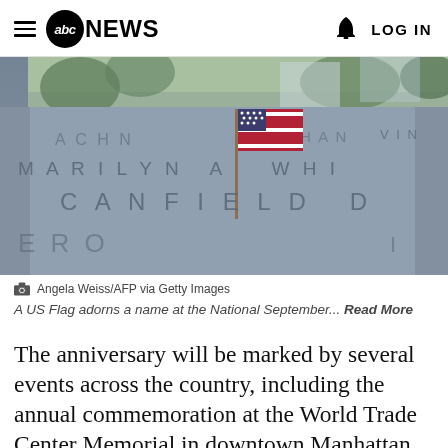abc NEWS   LOG IN
[Figure (photo): Close-up photo of names engraved on the 9/11 memorial at the World Trade Center, with a small American flag placed among the engraved names. Names visible include partial text: MARILYN A. WHITE, CANFIELD D. Taken by Angela Weiss/AFP via Getty Images.]
Angela Weiss/AFP via Getty Images
A US Flag adorns a name at the National September... Read More
The anniversary will be marked by several events across the country, including the annual commemoration at the World Trade Center Memorial in downtown Manhattan.